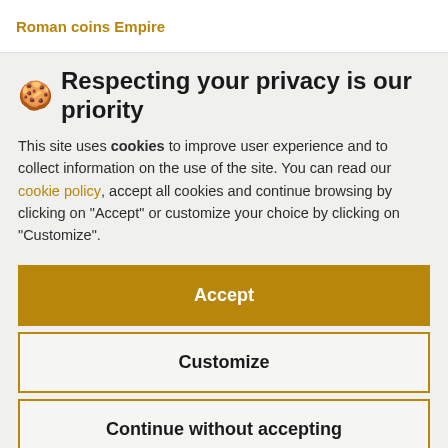Roman coins Empire
🍪 Respecting your privacy is our priority
This site uses cookies to improve user experience and to collect information on the use of the site. You can read our cookie policy, accept all cookies and continue browsing by clicking on "Accept" or customize your choice by clicking on "Customize".
Accept
Customize
Continue without accepting